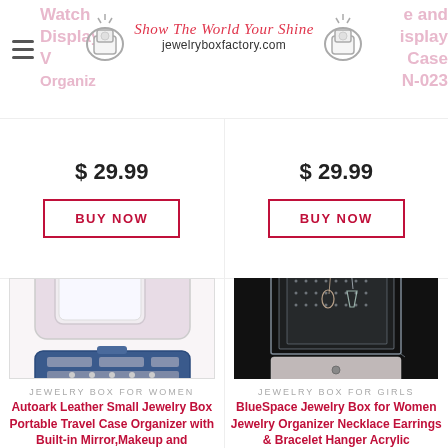jewelryboxfactory.com — Show The World Your Shine
$ 29.99
BUY NOW
$ 29.99
BUY NOW
[Figure (photo): Blue leather small jewelry box open showing mirror and compartments for travel]
JEWELRY BOX FOR WOMEN
Autoark Leather Small Jewelry Box Portable Travel Case Organizer with Built-in Mirror,Makeup and
[Figure (photo): Acrylic clear jewelry organizer with drawer and earring holder on black background]
JEWELRY BOX FOR GIRLS
BlueSpace Jewelry Box for Women Jewelry Organizer Necklace Earrings & Bracelet Hanger Acrylic